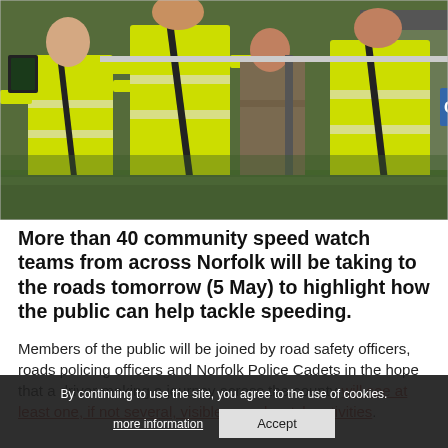[Figure (photo): Several people wearing bright yellow/hi-vis reflective safety vests standing outdoors near a white picket fence, some holding clipboards or devices. A sign reading 'OUT' is visible in the background. The scene appears to be a community speed watch operation.]
More than 40 community speed watch teams from across Norfolk will be taking to the roads tomorrow (5 May) to highlight how the public can help tackle speeding.
Members of the public will be joined by road safety officers, roads policing officers and Norfolk Police Cadets in the hope that a driver making a journey across the county will see at least one, if not several, visible speed watch activities.